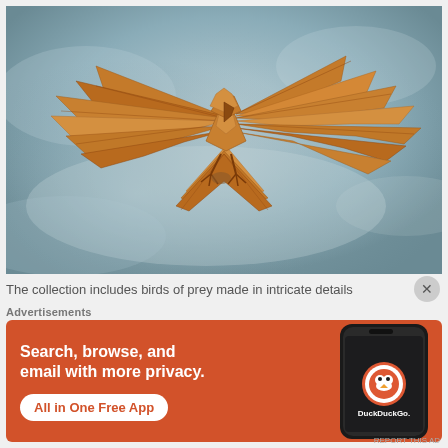[Figure (photo): Origami bird of prey (eagle/hawk) made from brown/golden paper, wings spread wide, appearing to fly against a misty grey-blue background. Intricate paper folding details visible on wings and body.]
The collection includes birds of prey made in intricate details
Advertisements
[Figure (illustration): DuckDuckGo advertisement banner on orange/rust background. Left side shows bold white text: 'Search, browse, and email with more privacy.' with a white pill-shaped button 'All in One Free App'. Right side shows a dark smartphone displaying the DuckDuckGo app with circular logo and 'DuckDuckGo.' text.]